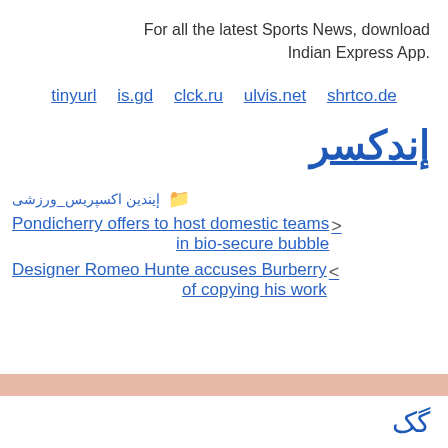For all the latest Sports News, download Indian Express App.
tinyurl  is.gd  clck.ru  ulvis.net  shrtco.de
إندکسر
إیندین اکسپریس_ورزشی
Pondicherry offers to host domestic teams in bio-secure bubble
Designer Romeo Hunte accuses Burberry of copying his work